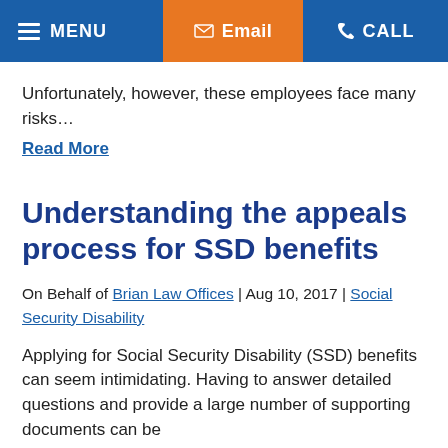MENU  Email  CALL
Unfortunately, however, these employees face many risks…
Read More
Understanding the appeals process for SSD benefits
On Behalf of Brian Law Offices | Aug 10, 2017 | Social Security Disability
Applying for Social Security Disability (SSD) benefits can seem intimidating. Having to answer detailed questions and provide a large number of supporting documents can be